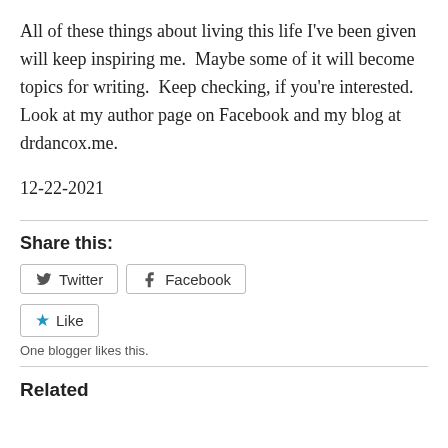All of these things about living this life I've been given will keep inspiring me.  Maybe some of it will become topics for writing.  Keep checking, if you're interested.  Look at my author page on Facebook and my blog at drdancox.me.
12-22-2021
Share this:
Twitter  Facebook
Like
One blogger likes this.
Related